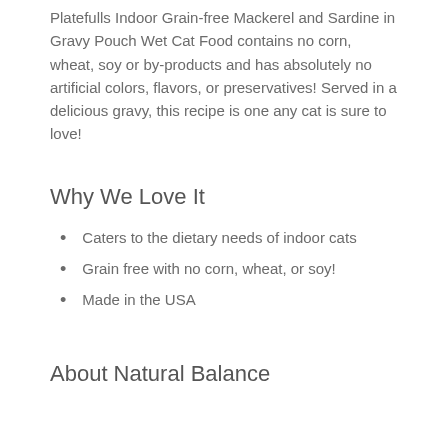Platefulls Indoor Grain-free Mackerel and Sardine in Gravy Pouch Wet Cat Food contains no corn, wheat, soy or by-products and has absolutely no artificial colors, flavors, or preservatives! Served in a delicious gravy, this recipe is one any cat is sure to love!
Why We Love It
Caters to the dietary needs of indoor cats
Grain free with no corn, wheat, or soy!
Made in the USA
About Natural Balance